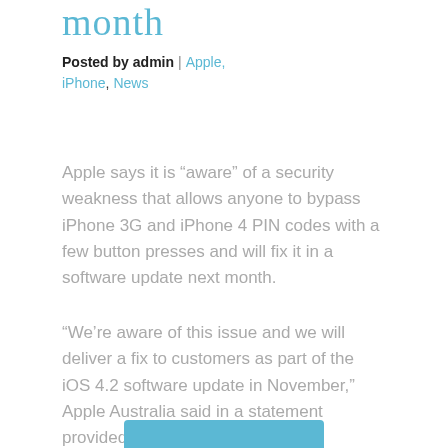month
Posted by admin | Apple, iPhone, News
Apple says it is “aware” of a security weakness that allows anyone to bypass iPhone 3G and iPhone 4 PIN codes with a few button presses and will fix it in a software update next month.
“We’re aware of this issue and we will deliver a fix to customers as part of the iOS 4.2 software update in November,” Apple Australia said in a statement provided early this morning.